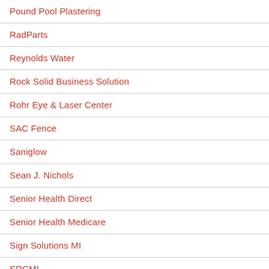Pound Pool Plastering
RadParts
Reynolds Water
Rock Solid Business Solution
Rohr Eye & Laser Center
SAC Fence
Saniglow
Sean J. Nichols
Senior Health Direct
Senior Health Medicare
Sign Solutions MI
SRCMI
State Electric Co.